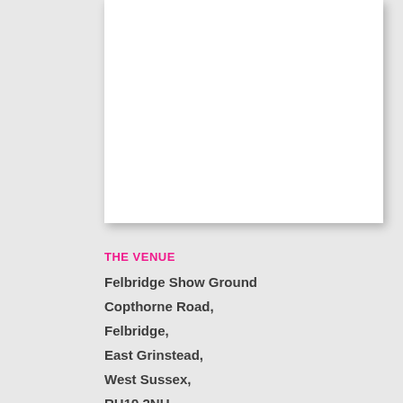[Figure (other): White rectangular card/image placeholder with drop shadow on grey background]
THE VENUE
Felbridge Show Ground
Copthorne Road,
Felbridge,
East Grinstead,
West Sussex,
RH19 2NU